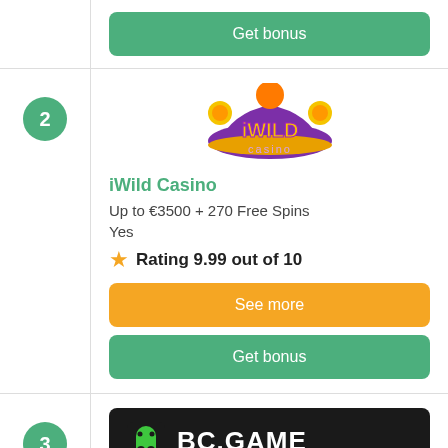Get bonus
[Figure (logo): iWild Casino logo — colorful jester hat with gold and purple colors and 'iWild casino' text]
iWild Casino
Up to €3500 + 270 Free Spins
Yes
Rating 9.99 out of 10
See more
Get bonus
[Figure (logo): BC.GAME logo — dark background with green ghost icon and white BC.GAME text]
BC.Game
Up to 240% Bonus
Yes